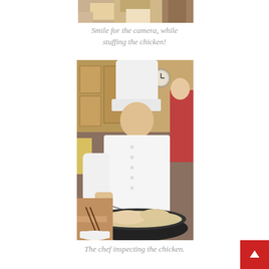[Figure (photo): Top portion of a photo showing a person stuffing a chicken in a kitchen, cropped at top of page]
Smile for the camera, while stuffing the chicken!
[Figure (photo): A chef wearing a white chef's hat and white chef's uniform leaning over a large black pan/wok containing chicken in liquid, working in a kitchen. Another person in red is visible in the background.]
The chef inspecting the chicken.